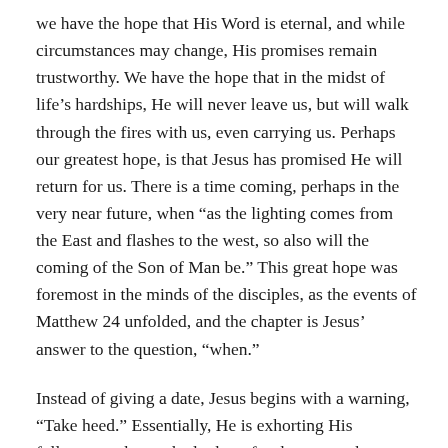we have the hope that His Word is eternal, and while circumstances may change, His promises remain trustworthy. We have the hope that in the midst of life's hardships, He will never leave us, but will walk through the fires with us, even carrying us. Perhaps our greatest hope, is that Jesus has promised He will return for us. There is a time coming, perhaps in the very near future, when “as the lighting comes from the East and flashes to the west, so also will the coming of the Son of Man be.” This great hope was foremost in the minds of the disciples, as the events of Matthew 24 unfolded, and the chapter is Jesus’ answer to the question, “when.”
Instead of giving a date, Jesus begins with a warning, “Take heed.” Essentially, He is exhorting His followers to be on the lookout for the events that foreshadow His return.